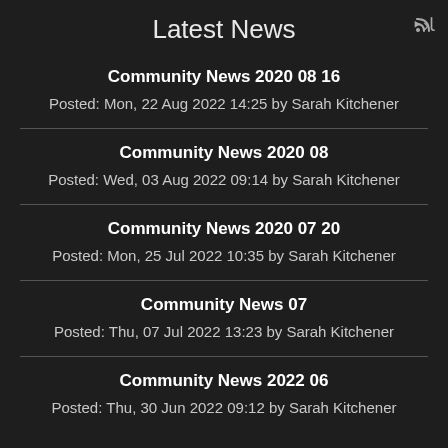Latest News
Community News 2020 08 16
Posted: Mon, 22 Aug 2022 14:25 by Sarah Kitchener
Community News 2020 08
Posted: Wed, 03 Aug 2022 09:14 by Sarah Kitchener
Community News 2020 07 20
Posted: Mon, 25 Jul 2022 10:35 by Sarah Kitchener
Community News 07
Posted: Thu, 07 Jul 2022 13:23 by Sarah Kitchener
Community News 2022 06
Posted: Thu, 30 Jun 2022 09:12 by Sarah Kitchener